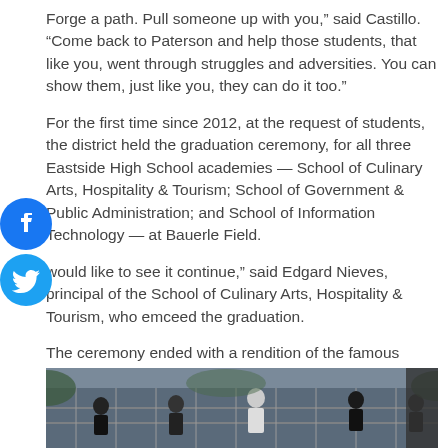Forge a path. Pull someone up with you," said Castillo. "Come back to Paterson and help those students, that like you, went through struggles and adversities. You can show them, just like you, they can do it too."
For the first time since 2012, at the request of students, the district held the graduation ceremony, for all three Eastside High School academies — School of Culinary Arts, Hospitality & Tourism; School of Government & Public Administration; and School of Information Technology — at Bauerle Field.
would like to see it continue," said Edgard Nieves, principal of the School of Culinary Arts, Hospitality & Tourism, who emceed the graduation.
The ceremony ended with a rendition of the famous Eastside High School alma mater.
[Figure (photo): Outdoor scene at Bauerle Field showing people standing near bleachers/fencing at a graduation ceremony]